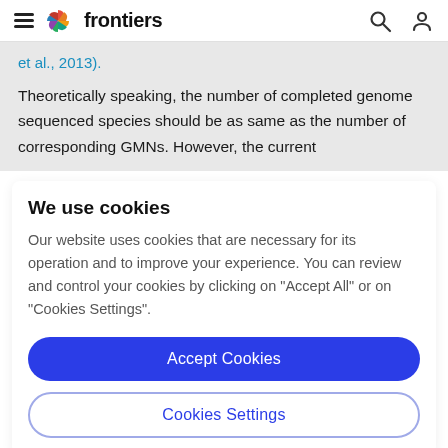frontiers
et al., 2013).
Theoretically speaking, the number of completed genome sequenced species should be as same as the number of corresponding GMNs. However, the current
We use cookies
Our website uses cookies that are necessary for its operation and to improve your experience. You can review and control your cookies by clicking on "Accept All" or on "Cookies Settings".
Accept Cookies
Cookies Settings